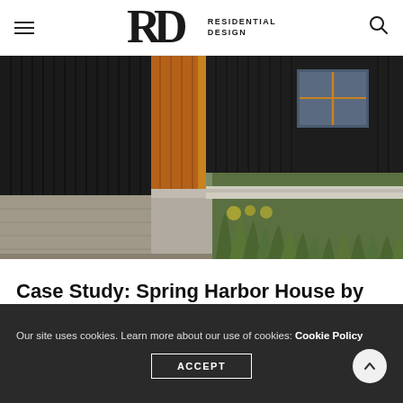RD RESIDENTIAL DESIGN
[Figure (photo): Exterior architectural photo of Spring Harbor House showing dark charred wood siding with warm wood accents around the entryway, concrete base wall, and native plantings in the foreground]
Case Study: Spring Harbor House by Johnsen Schmaling Architects
Our site uses cookies. Learn more about our use of cookies: Cookie Policy
ACCEPT